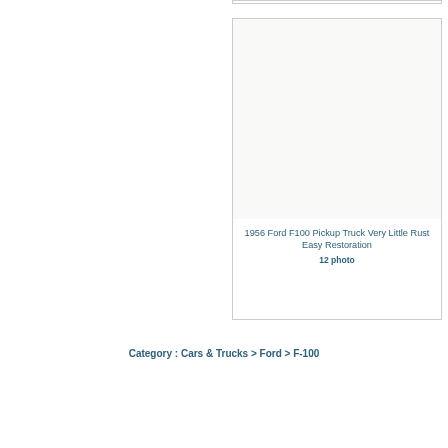[Figure (screenshot): Listing card for a 1956 Ford F100 Pickup Truck with a blank/white image area and text below]
1956 Ford F100 Pickup Truck Very Little Rust Easy Restoration
12 photo
Category : Cars & Trucks > Ford > F-100